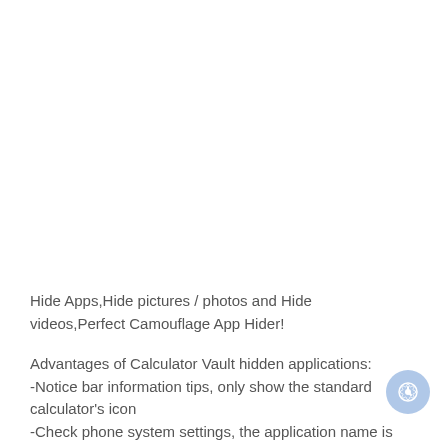Hide Apps,Hide pictures / photos and Hide videos,Perfect Camouflage App Hider!
Advantages of Calculator Vault hidden applications:
-Notice bar information tips, only show the standard calculator's icon
-Check phone system settings, the application name is